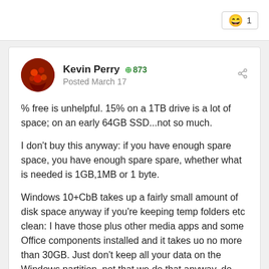[Figure (other): Reaction emoji (laughing face) with count 1 in a bordered box]
Kevin Perry  873
Posted March 17
% free is unhelpful.  15% on a 1TB drive is a lot of space; on an early 64GB SSD...not so much.
I don't buy this anyway: if you have enough spare space, you have enough spare spare, whether what is needed is 1GB,1MB or 1 byte.
Windows 10+CbB takes up a fairly small amount of disk space anyway if you're keeping temp folders etc clean: I have those plus other media apps and some Office components installed and it takes uo no more than 30GB. Just don't keep all your data on the Windows partition, not that we do that anyway, do we?